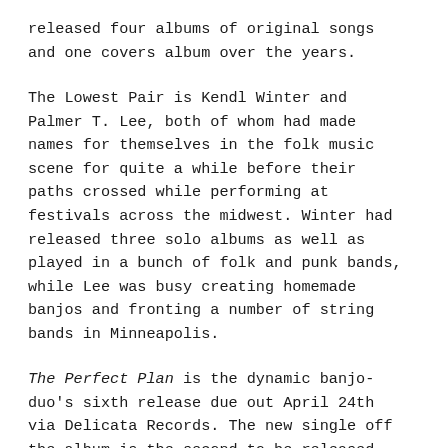released four albums of original songs and one covers album over the years.
The Lowest Pair is Kendl Winter and Palmer T. Lee, both of whom had made names for themselves in the folk music scene for quite a while before their paths crossed while performing at festivals across the midwest. Winter had released three solo albums as well as played in a bunch of folk and punk bands, while Lee was busy creating homemade banjos and fronting a number of string bands in Minneapolis.
The Perfect Plan is the dynamic banjo-duo's sixth release due out April 24th via Delicata Records. The new single off the album is the second to be released